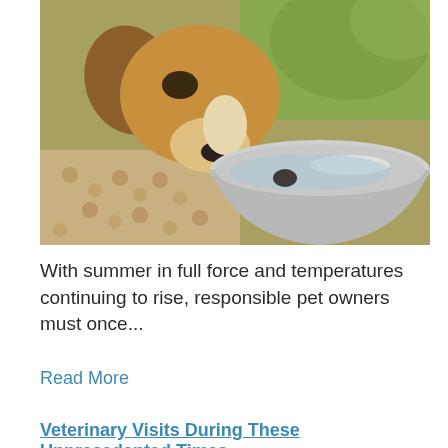[Figure (photo): A dog (beagle) drinking water from a stainless steel bowl, with dog kibble visible on the ground.]
With summer in full force and temperatures continuing to rise, responsible pet owners must once...
Read More
Veterinary Visits During These Unprecedented Times